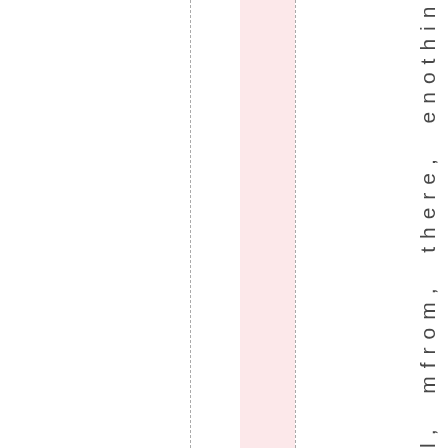[Figure (other): Page layout with vertical dashed lines, a pink highlighted column, and vertically rotated text reading 'l, mfrom, there, enothingint' along the right side]
l, mfrom, there, enothingint